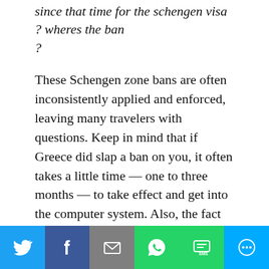since that time for the schengen visa ? wheres the ban ?
These Schengen zone bans are often inconsistently applied and enforced, leaving many travelers with questions. Keep in mind that if Greece did slap a ban on you, it often takes a little time — one to three months — to take effect and get into the computer system. Also, the fact that Italy still gave you a visa does not mean that you are not banned from the Schengen region for your previous overstay, as Italy tends to be incredibly lax about enforcing immigration laws. Another country in the region may
Twitter | Facebook | Email | WhatsApp | SMS | More